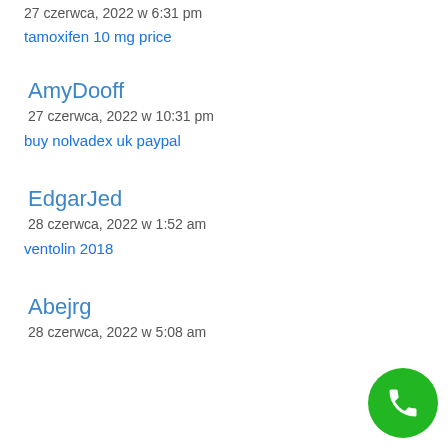27 czerwca, 2022 w 6:31 pm
tamoxifen 10 mg price
AmyDooff
27 czerwca, 2022 w 10:31 pm
buy nolvadex uk paypal
EdgarJed
28 czerwca, 2022 w 1:52 am
ventolin 2018
Abejrg
28 czerwca, 2022 w 5:08 am
[Figure (other): Green circular phone button in bottom right corner]